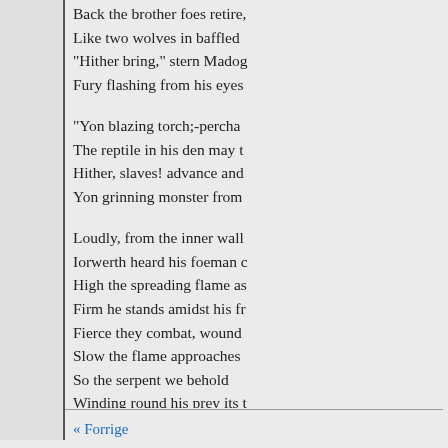Back the brother foes retire,
Like two wolves in baffled
"Hither bring," stern Madog
Fury flashing from his eyes

"Yon blazing torch;-percha
The reptile in his den may t
Hither, slaves! advance and
Yon grinning monster from

Loudly, from the inner wall
Iorwerth heard his foeman c
High the spreading flame as
Firm he stands amidst his fr
Fierce they combat, wound
Slow the flame approaches
So the serpent we behold
Winding round his prey its t
Ere its head to sting is rais'd
Sternly on it Iorwerth gazed
As he felt its growing heat;
Must he from his post retrea
« Forrige